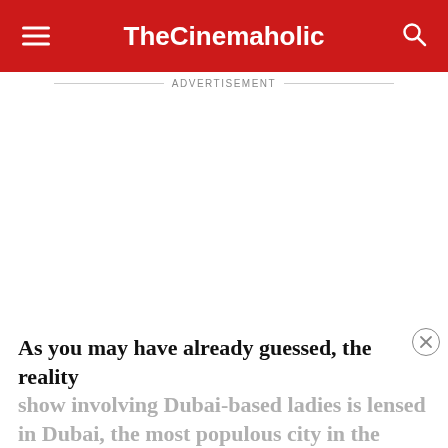TheCinemaholic
ADVERTISEMENT
As you may have already guessed, the reality show involving Dubai-based ladies is lensed in Dubai, the most populous city in the United Arab Emirates. The production team